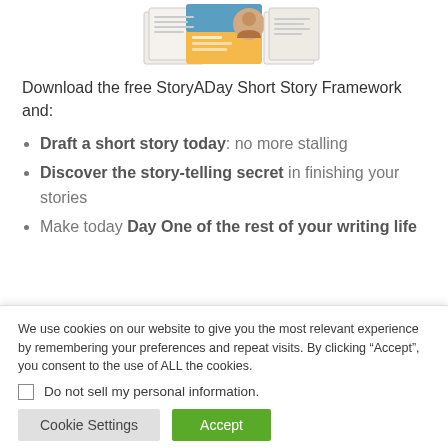[Figure (illustration): Book and person illustration for StoryADay Short Story Framework]
Download the free StoryADay Short Story Framework and:
Draft a short story today: no more stalling
Discover the story-telling secret in finishing your stories
Make today Day One of the rest of your writing life
We use cookies on our website to give you the most relevant experience by remembering your preferences and repeat visits. By clicking “Accept”, you consent to the use of ALL the cookies.
Do not sell my personal information.
Cookie Settings
Accept